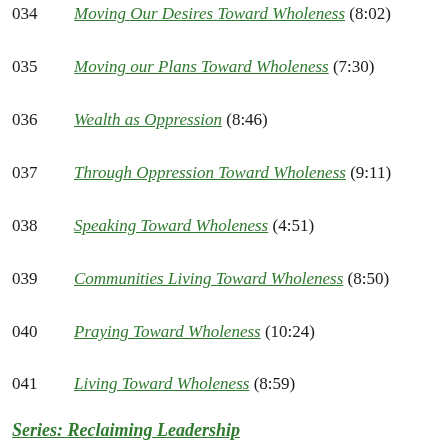034  Moving Our Desires Toward Wholeness (8:02)
035  Moving our Plans Toward Wholeness (7:30)
036  Wealth as Oppression (8:46)
037  Through Oppression Toward Wholeness (9:11)
038  Speaking Toward Wholeness (4:51)
039  Communities Living Toward Wholeness (8:50)
040  Praying Toward Wholeness (10:24)
041  Living Toward Wholeness (8:59)
Series: Reclaiming Leadership